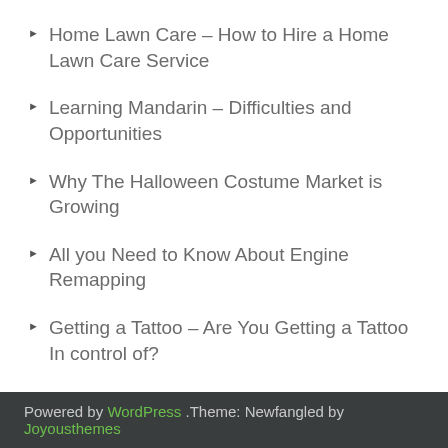Home Lawn Care – How to Hire a Home Lawn Care Service
Learning Mandarin – Difficulties and Opportunities
Why The Halloween Costume Market is Growing
All you Need to Know About Engine Remapping
Getting a Tattoo – Are You Getting a Tattoo In control of?
Powered by WordPress .Theme: Newfangled by Joyousthemes